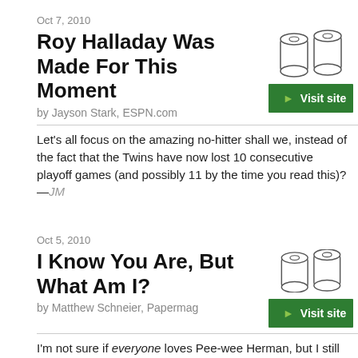Oct 7, 2010
Roy Halladay Was Made For This Moment
by Jayson Stark, ESPN.com
[Figure (illustration): Two toilet paper rolls illustration]
Visit site
Let's all focus on the amazing no-hitter shall we, instead of the fact that the Twins have now lost 10 consecutive playoff games (and possibly 11 by the time you read this)?—JM
Oct 5, 2010
I Know You Are, But What Am I?
by Matthew Schneier, Papermag
[Figure (illustration): Two toilet paper rolls illustration]
Visit site
I'm not sure if everyone loves Pee-wee Herman, but I still do.—TG
Oct 1, 2010
Greg Giraldo on Failure
[Figure (illustration): Two toilet paper rolls illustration (partial)]